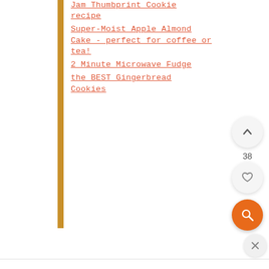Jam Thumbprint Cookie recipe
Super-Moist Apple Almond Cake - perfect for coffee or tea!
2 Minute Microwave Fudge
the BEST Gingerbread Cookies
[Figure (other): Upward chevron arrow button (scroll to top), circular white button with shadow]
38
[Figure (other): Heart icon button, circular white button with shadow]
[Figure (other): Search/magnifying glass icon button, circular orange button]
[Figure (other): Close/X icon button, circular light grey button]